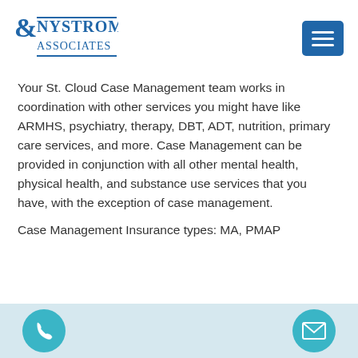Nystrom & Associates
Your St. Cloud Case Management team works in coordination with other services you might have like ARMHS, psychiatry, therapy, DBT, ADT, nutrition, primary care services, and more. Case Management can be provided in conjunction with all other mental health, physical health, and substance use services that you have, with the exception of case management.
Case Management Insurance types: MA, PMAP
Phone and email contact icons